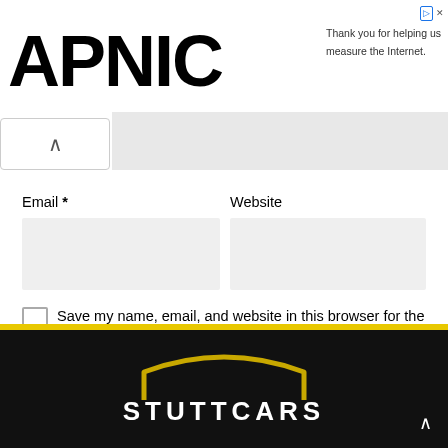[Figure (logo): APNIC logo in large bold black text]
Thank you for helping us measure the Internet.
Email *
Website
Save my name, email, and website in this browser for the next time I comment.
SUBMIT
[Figure (logo): STUTTCARS logo in gold and white on black background with arch graphic]